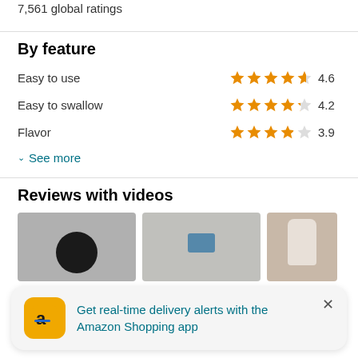7,561 global ratings
By feature
Easy to use — 4.6 stars
Easy to swallow — 4.2 stars
Flavor — 3.9 stars
See more
Reviews with videos
[Figure (photo): Three video review thumbnails showing product images]
Get real-time delivery alerts with the Amazon Shopping app